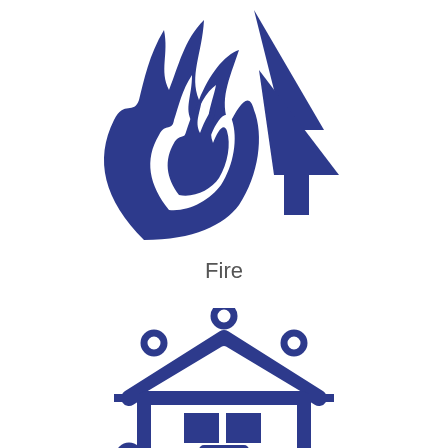[Figure (illustration): Blue icon of a wildfire scene showing flames and a burning tree/forest silhouette]
Fire
[Figure (illustration): Blue outline icon of a house with snow/bubbles around it, representing flooding or weather damage, with wavy water at the bottom]